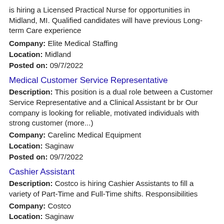is hiring a Licensed Practical Nurse for opportunities in Midland, MI. Qualified candidates will have previous Long-term Care experience
Company: Elite Medical Staffing
Location: Midland
Posted on: 09/7/2022
Medical Customer Service Representative
Description: This position is a dual role between a Customer Service Representative and a Clinical Assistant br br Our company is looking for reliable, motivated individuals with strong customer (more...)
Company: Carelinc Medical Equipment
Location: Saginaw
Posted on: 09/7/2022
Cashier Assistant
Description: Costco is hiring Cashier Assistants to fill a variety of Part-Time and Full-Time shifts. Responsibilities
Company: Costco
Location: Saginaw
Posted on: 09/7/2022
Travel Nurse RN - OR - Operating Room - $3,348 per week